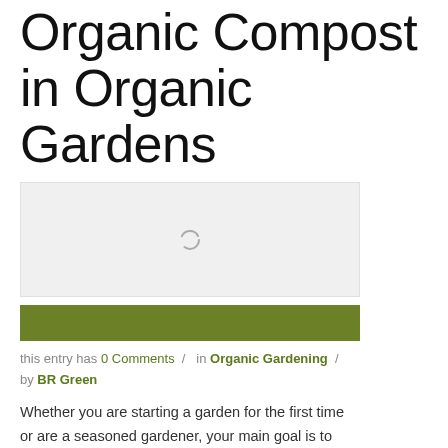Organic Compost in Organic Gardens
[Figure (photo): Loading image placeholder with spinner icon for organic compost article]
[Figure (other): Green horizontal banner bar]
this entry has 0 Comments / in Organic Gardening / by BR Green
Whether you are starting a garden for the first time or are a seasoned gardener, your main goal is to grow large healthy fruits, vegetables or flowers. Both flower gardens and vegetable gardens require